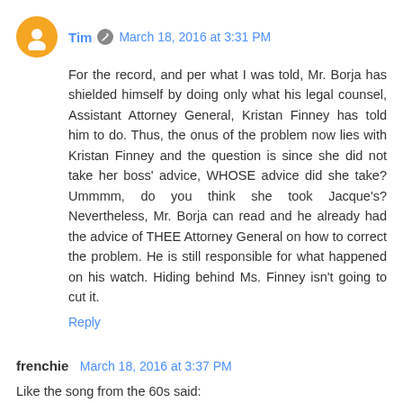Tim  March 18, 2016 at 3:31 PM
For the record, and per what I was told, Mr. Borja has shielded himself by doing only what his legal counsel, Assistant Attorney General, Kristan Finney has told him to do. Thus, the onus of the problem now lies with Kristan Finney and the question is since she did not take her boss' advice, WHOSE advice did she take? Ummmm, do you think she took Jacque's? Nevertheless, Mr. Borja can read and he already had the advice of THEE Attorney General on how to correct the problem. He is still responsible for what happened on his watch. Hiding behind Ms. Finney isn't going to cut it.
Reply
frenchie  March 18, 2016 at 3:37 PM
Like the song from the 60s said:
"and the beat goes on! and the beat goes on!"
The arrogance and condescendence, are absolutely amazing.